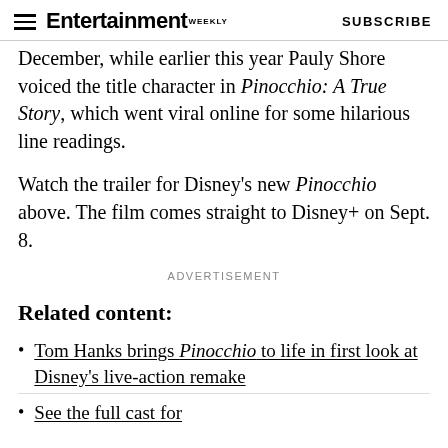Entertainment Weekly  SUBSCRIBE
December, while earlier this year Pauly Shore voiced the title character in Pinocchio: A True Story, which went viral online for some hilarious line readings.
Watch the trailer for Disney's new Pinocchio above. The film comes straight to Disney+ on Sept. 8.
ADVERTISEMENT
Related content:
Tom Hanks brings Pinocchio to life in first look at Disney's live-action remake
See the full cast for...